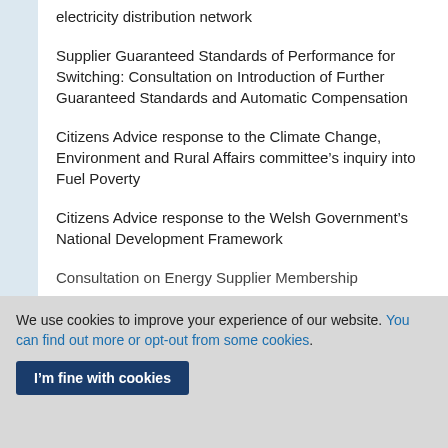electricity distribution network
Supplier Guaranteed Standards of Performance for Switching: Consultation on Introduction of Further Guaranteed Standards and Automatic Compensation
Citizens Advice response to the Climate Change, Environment and Rural Affairs committee’s inquiry into Fuel Poverty
Citizens Advice response to the Welsh Government’s National Development Framework
Consultation on Energy Supplier Membership
We use cookies to improve your experience of our website. You can find out more or opt-out from some cookies.
I’m fine with cookies